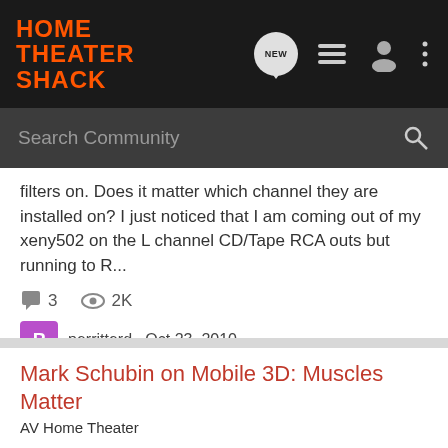[Figure (screenshot): Home Theater Shack website navigation bar with orange logo, search field labeled 'Search Community', and icons for new posts, list, user profile, and more options]
filters on. Does it matter which channel they are installed on? I just noticed that I am coming out of my xeny502 on the L channel CD/Tape RCA outs but running to R...
3   2K
perritterd · Oct 23, 2010
1100  channel  filter  matter
Mark Schubin on Mobile 3D: Muscles Matter
AV Home Theater
This is an interesting article on some issues with mobile 3d technology from one of the more informative people in the video field that I ran across at mobilizedtv.com. It is the first of a two-part article. from http://www.mobilizedtv.com/mark-